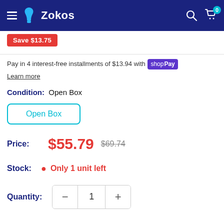Zokos
Save $13.75
Pay in 4 interest-free installments of $13.94 with shop Pay
Learn more
Condition: Open Box
Open Box
Price: $55.79 $69.74
Stock: Only 1 unit left
Quantity: 1